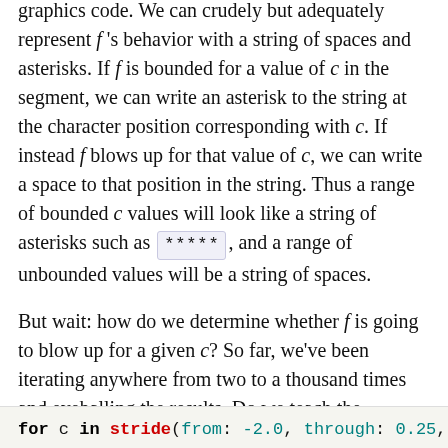graphics code. We can crudely but adequately represent f's behavior with a string of spaces and asterisks. If f is bounded for a value of c in the segment, we can write an asterisk to the string at the character position corresponding with c. If instead f blows up for that value of c, we can write a space to that position in the string. Thus a range of bounded c values will look like a string of asterisks such as *****, and a range of unbounded values will be a string of spaces.
But wait: how do we determine whether f is going to blow up for a given c? So far, we've been iterating anywhere from two to a thousand times and eyeballing the results. Do we teach the computer to eyeball the results? Let's avoid artificial intelligence problems for now, and see if we can find a simple heuristic to use. Let's examine the values after many thousands of iterations for several values of c in the range where we think f is bounded.
for c in stride(from: -2.0, through: 0.25, by